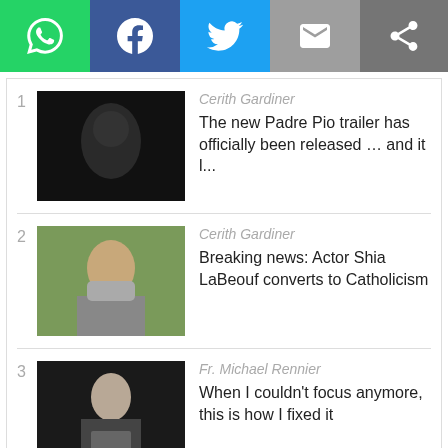[Figure (infographic): Social share bar with WhatsApp (green), Facebook (blue), Twitter (light blue), Email (grey), and Share/More (dark grey) buttons]
1 Cerith Gardiner — The new Padre Pio trailer has officially been released … and it l...
2 Cerith Gardiner — Breaking news: Actor Shia LaBeouf converts to Catholicism
3 Fr. Michael Rennier — When I couldn't focus anymore, this is how I fixed it
4 Philip Kosloski — Meditate on this Bible verse when you wake up